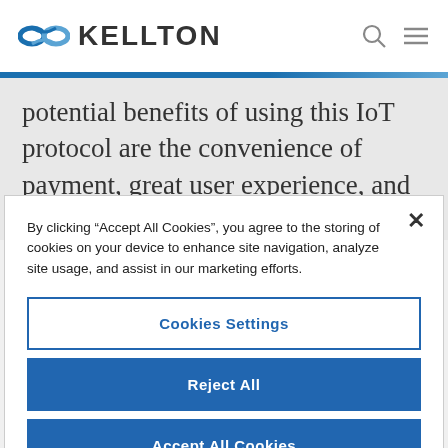KELLTON
potential benefits of using this IoT protocol are the convenience of payment, great user experience, and improved efficiency.
By clicking “Accept All Cookies”, you agree to the storing of cookies on your device to enhance site navigation, analyze site usage, and assist in our marketing efforts.
Cookies Settings
Reject All
Accept All Cookies